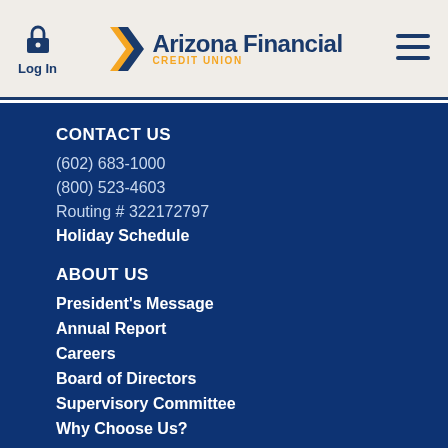Log In | Arizona Financial Credit Union | Menu
CONTACT US
(602) 683-1000
(800) 523-4603
Routing # 322172797
Holiday Schedule
ABOUT US
President's Message
Annual Report
Careers
Board of Directors
Supervisory Committee
Why Choose Us?